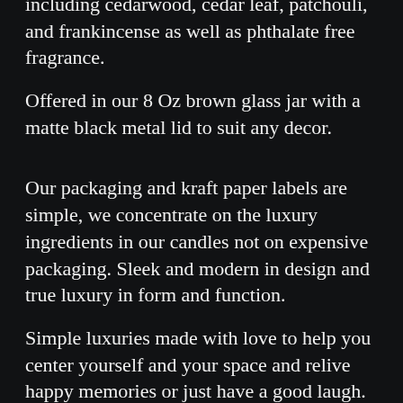including cedarwood, cedar leaf, patchouli, and frankincense as well as phthalate free fragrance.
Offered in our 8 Oz brown glass jar with a matte black metal lid to suit any decor.
Our packaging and kraft paper labels are simple, we concentrate on the luxury ingredients in our candles not on expensive packaging. Sleek and modern in design and true luxury in form and function.
Simple luxuries made with love to help you center yourself and your space and relive happy memories or just have a good laugh.